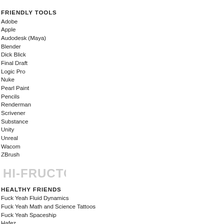FRIENDLY TOOLS
Adobe
Apple
Audodesk (Maya)
Blender
Dick Blick
Final Draft
Logic Pro
Nuke
Pearl Paint
Pencils
Renderman
Scrivener
Substance
Unity
Unreal
Wacom
ZBrush
[Figure (logo): Hi-Fructose logo in light gray]
HEALTHY FRIENDS
Fuck Yeah Fluid Dynamics
Fuck Yeah Math and Science Tattoos
Fuck Yeah Spaceship
Hafez
HowManyPeopleAreOnMarsRightNow
I Fucking Love Science
Iconic Photos
LogicGirrrl